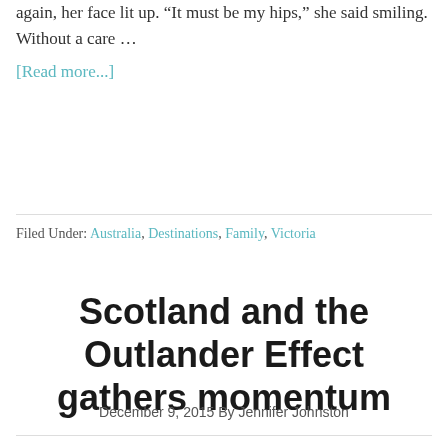again, her face lit up. “It must be my hips,” she said smiling. Without a care …
[Read more...]
Filed Under: Australia, Destinations, Family, Victoria
Scotland and the Outlander Effect gathers momentum
December 9, 2015 By Jennifer Johnston